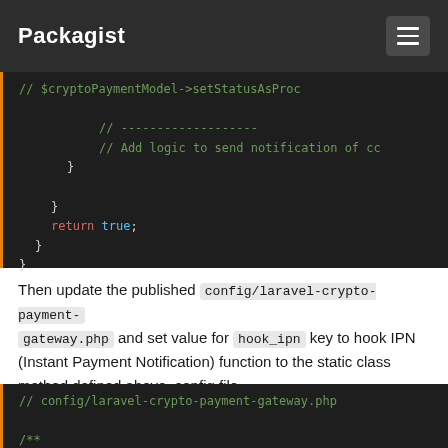Packagist
[Figure (screenshot): Code block showing PHP closing braces and return true statement with syntax highlighting]
Then update the published config/laravel-crypto-payment-gateway.php and set value for hook_ipn key to hook IPN (Instant Payment Notification) function to the static class method defined above. config file
[Figure (screenshot): Code block showing PHP comment for config/laravel-crypto-payment-gateway.php and a docblock comment about Hook IPN]